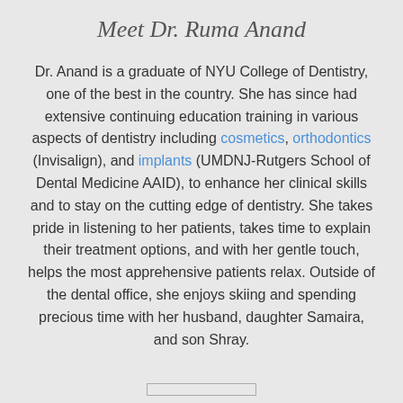Meet Dr. Ruma Anand
Dr. Anand is a graduate of NYU College of Dentistry, one of the best in the country. She has since had extensive continuing education training in various aspects of dentistry including cosmetics, orthodontics (Invisalign), and implants (UMDNJ-Rutgers School of Dental Medicine AAID), to enhance her clinical skills and to stay on the cutting edge of dentistry. She takes pride in listening to her patients, takes time to explain their treatment options, and with her gentle touch, helps the most apprehensive patients relax. Outside of the dental office, she enjoys skiing and spending precious time with her husband, daughter Samaira, and son Shray.